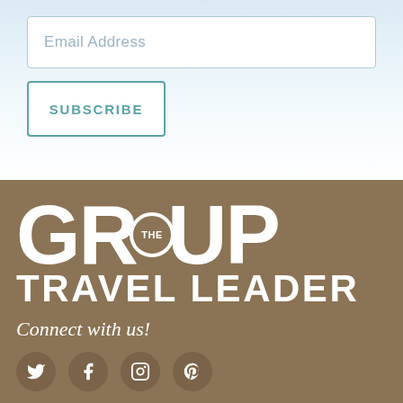Email Address
SUBSCRIBE
[Figure (logo): The Group Travel Leader logo in white text on brown/tan background]
Connect with us!
[Figure (other): Social media icons: Twitter, Facebook, Instagram, Pinterest on dark brown circular backgrounds]